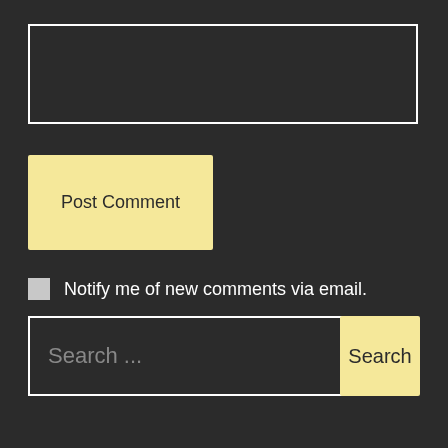[Figure (screenshot): Empty text area input box with white border on dark background]
Post Comment
Notify me of new comments via email.
Notify me of new posts via email.
Search ...
Search